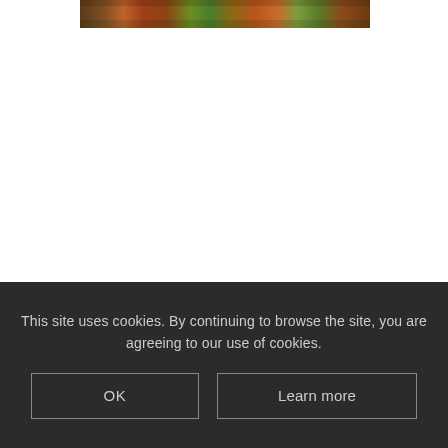[Figure (photo): Partial colorful image visible at top of page, appears to show foliage or artwork with red, green, orange tones]
This site uses cookies. By continuing to browse the site, you are agreeing to our use of cookies.
OK
Learn more